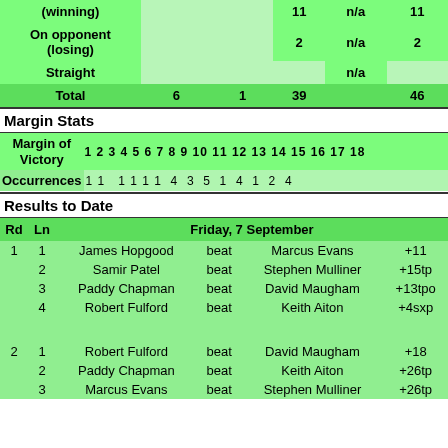|  |  |  |  |  |  | 11 | n/a | 11 |
| --- | --- | --- | --- | --- | --- | --- | --- | --- |
| On opponent (losing) |  |  |  |  |  | 2 | n/a | 2 |
| Straight |  |  |  |  |  |  | n/a |  |
| Total |  | 6 |  | 1 |  | 39 |  | 46 |
Margin Stats
| Margin of Victory | 1 | 2 | 3 | 4 | 5 | 6 | 7 | 8 | 9 | 10 | 11 | 12 | 13 | 14 | 15 | 16 | 17 | 18 |
| --- | --- | --- | --- | --- | --- | --- | --- | --- | --- | --- | --- | --- | --- | --- | --- | --- | --- | --- |
| Occurrences | 1 | 1 |  | 1 | 1 | 1 | 1 | 4 | 3 | 5 | 1 | 4 | 1 | 2 | 4 |
Results to Date
| Rd | Ln | Friday, 7 September |  |  |  |
| --- | --- | --- | --- | --- | --- |
| 1 | 1 | James Hopgood | beat | Marcus Evans | +11 |
|  | 2 | Samir Patel | beat | Stephen Mulliner | +15tp |
|  | 3 | Paddy Chapman | beat | David Maugham | +13tpo |
|  | 4 | Robert Fulford | beat | Keith Aiton | +4sxp |
| 2 | 1 | Robert Fulford | beat | David Maugham | +18 |
|  | 2 | Paddy Chapman | beat | Keith Aiton | +26tp |
|  | 3 | Marcus Evans | beat | Stephen Mulliner | +26tp |